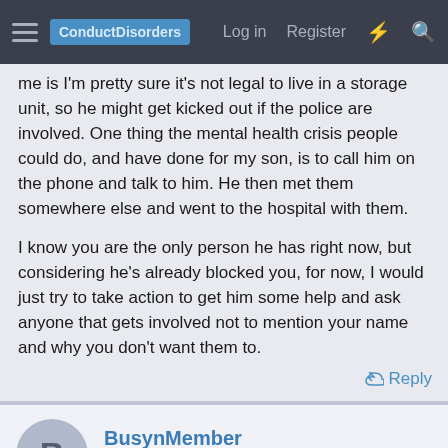ConductDisorders | Log in | Register
me is I'm pretty sure it's not legal to live in a storage unit, so he might get kicked out if the police are involved. One thing the mental health crisis people could do, and have done for my son, is to call him on the phone and talk to him. He then met them somewhere else and went to the hospital with them.

I know you are the only person he has right now, but considering he's already blocked you, for now, I would just try to take action to get him some help and ask anyone that gets involved not to mention your name and why you don't want them to.
Reply
BusynMember
Well-Known Member